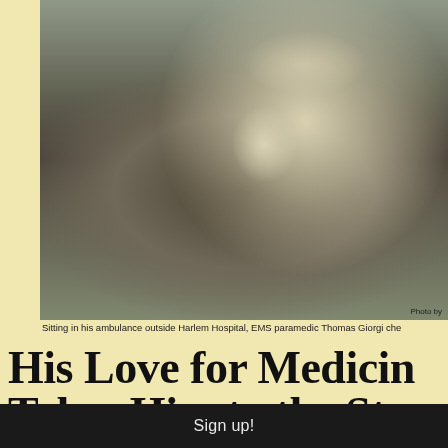[Figure (photo): Black and white newspaper photo of EMS paramedic Thomas Giorgi sitting in his ambulance outside Harlem Hospital, holding a radio to his mouth, wearing a uniform and cap.]
Sitting in his ambulance outside Harlem Hospital, EMS paramedic Thomas Giorgi che
His Love for Medicin Takes Him to the Stre
By Marianne Arneberg
It began with a suggestion by his ninth grade English teacher that he volunteer at the local
O'Loughlin. "Because when Tommy these vets [in need of medical atte really something special."
Sign up!